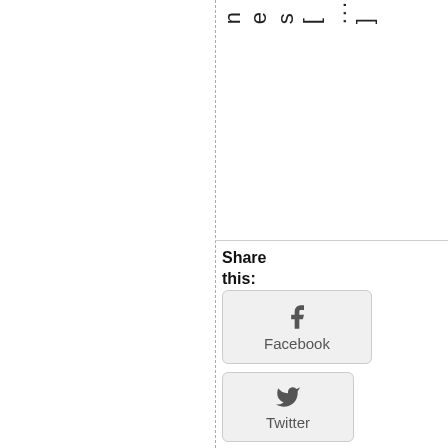n e s [ ... ]
Share this:
[Figure (other): Facebook share button with Facebook icon]
[Figure (other): Twitter share button with Twitter bird icon]
March 19th